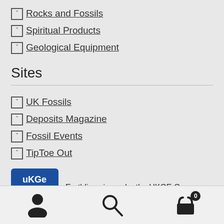▣ Rocks and Fossils
▣ Spiritual Products
▣ Geological Equipment
Sites
▣ UK Fossils
▣ Deposits Magazine
▣ Fossil Events
▣ TipToe Out
[Figure (logo): UKGE Group logo — blue square with 'uKGe group' text in white]
Earthlines is run by the UKGE Group.
Navigation bar with user, search, and cart icons